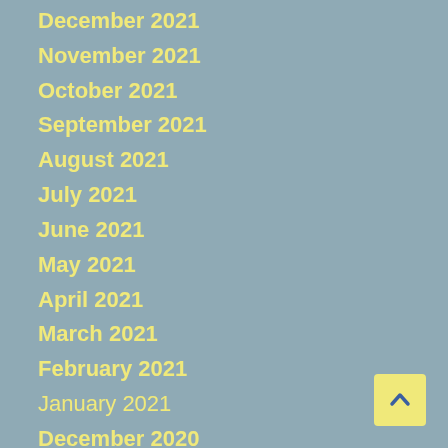December 2021
November 2021
October 2021
September 2021
August 2021
July 2021
June 2021
May 2021
April 2021
March 2021
February 2021
January 2021
December 2020
November 2020
October 2020
September 2020